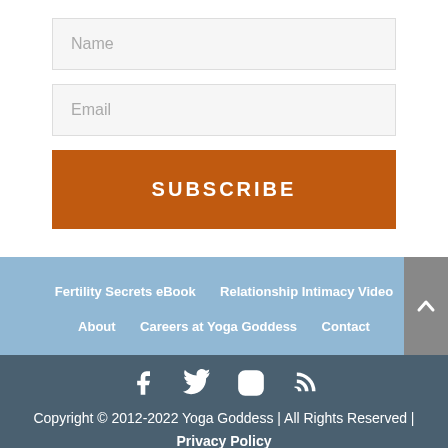[Figure (screenshot): Name input field (text input placeholder)]
[Figure (screenshot): Email input field (text input placeholder)]
SUBSCRIBE
Fertility Secrets eBook   Relationship Intimacy Video   About   Careers at Yoga Goddess   Contact
Copyright © 2012-2022 Yoga Goddess | All Rights Reserved | Privacy Policy